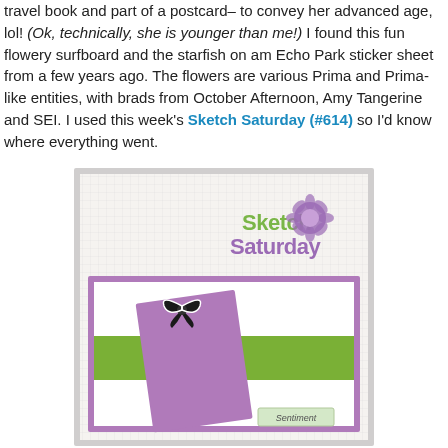travel book and part of a postcard– to convey her advanced age, lol! (Ok, technically, she is younger than me!) I found this fun flowery surfboard and the starfish on am Echo Park sticker sheet from a few years ago. The flowers are various Prima and Prima-like entities, with brads from October Afternoon, Amy Tangerine and SEI. I used this week's Sketch Saturday (#614) so I'd know where everything went.
[Figure (illustration): Sketch Saturday layout template showing a card design with a grid background, purple border frame, green horizontal band, a tilted purple rectangle photo mat with a black bow embellishment, and a 'Sentiment' label box in the bottom right. The Sketch Saturday logo appears in the top right corner with green and purple text and a purple flower.]